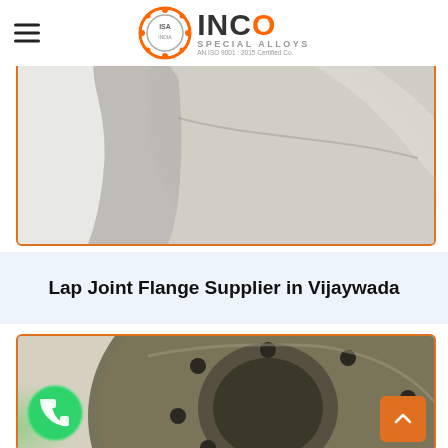INCO Special Alloys — AN ISO 9001 : 2015 Certified Co.
[Figure (photo): Close-up photo of a metallic flange component (partial view, silver/stainless steel finish) inside an orange-bordered white box]
Lap Joint Flange Supplier in Vijaywada
[Figure (photo): Photo of a dark metallic lap joint flange with bolt holes, circular shape, viewed from above, inside an orange-bordered box]